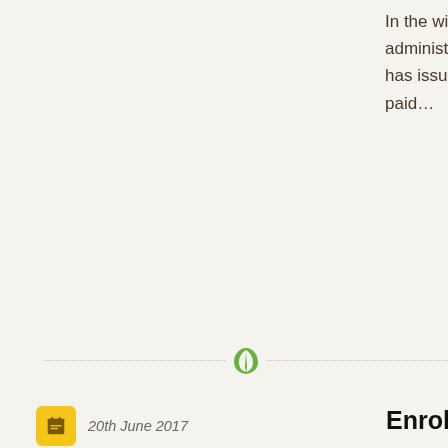In the widening controversy over the failure of administer the new '30 hours' scheme, HMRC has issued an apology, explaining £45,000 co paid…
[Figure (illustration): Green leaf decorative divider icon]
20th June 2017
News
0 Comments
admin
Enrolling your child at our Day Nu…
[Figure (photo): Interior photo of a day nursery in Liverpool showing colourful toys, small tables and chairs, and children's play equipment]
Visits – Here at our Day Nursery in Liverp…